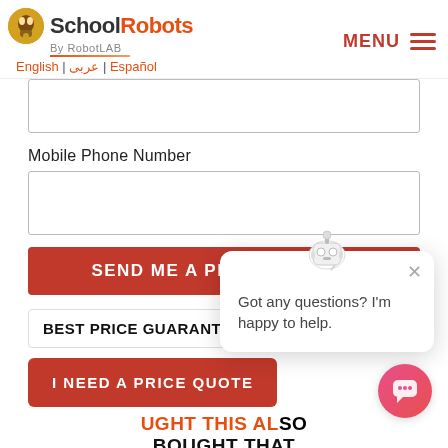SchoolRobots By RobotLAB | English | عربى | Español | MENU
[Figure (screenshot): Empty form input box (top, partially visible)]
Mobile Phone Number
[Figure (screenshot): Empty text input field for Mobile Phone Number]
SEND ME A PRICE QU...
BEST PRICE GUARANT...
I NEED A PRICE QUOTE
GHT THIS AL... BOUGHT THAT
[Figure (screenshot): Chat popup with robot icon. Text: Got any questions? I'm happy to help. X close button visible.]
[Figure (screenshot): Pink/red circular chat button at bottom right]